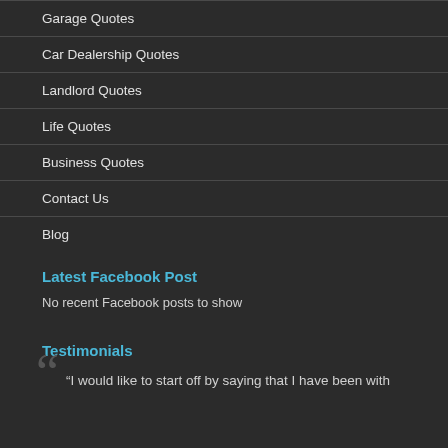Garage Quotes
Car Dealership Quotes
Landlord Quotes
Life Quotes
Business Quotes
Contact Us
Blog
Latest Facebook Post
No recent Facebook posts to show
Testimonials
“I would like to start off by saying that I have been with